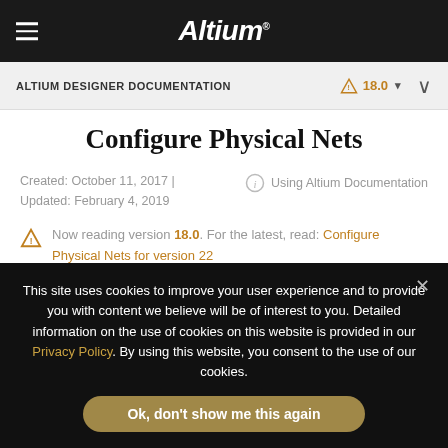Altium
ALTIUM DESIGNER DOCUMENTATION   ⚠ 18.0 ▾   ∨
Configure Physical Nets
Created: October 11, 2017 | Updated: February 4, 2019
Using Altium Documentation
Now reading version 18.0. For the latest, read: Configure Physical Nets for version 22
This site uses cookies to improve your user experience and to provide you with content we believe will be of interest to you. Detailed information on the use of cookies on this website is provided in our Privacy Policy. By using this website, you consent to the use of our cookies.
Ok, don't show me this again